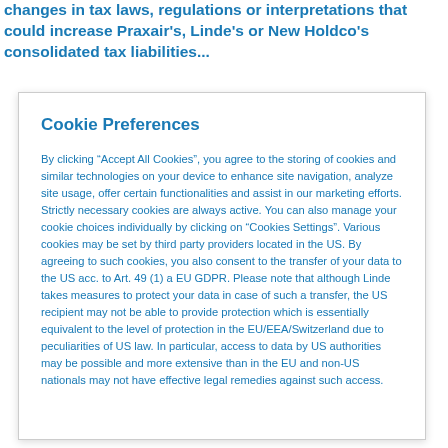changes in tax laws, regulations or interpretations that could increase Praxair's, Linde's or New Holdco's consolidated tax liabilities...
Cookie Preferences
By clicking “Accept All Cookies”, you agree to the storing of cookies and similar technologies on your device to enhance site navigation, analyze site usage, offer certain functionalities and assist in our marketing efforts. Strictly necessary cookies are always active. You can also manage your cookie choices individually by clicking on "Cookies Settings". Various cookies may be set by third party providers located in the US. By agreeing to such cookies, you also consent to the transfer of your data to the US acc. to Art. 49 (1) a EU GDPR. Please note that although Linde takes measures to protect your data in case of such a transfer, the US recipient may not be able to provide protection which is essentially equivalent to the level of protection in the EU/EEA/Switzerland due to peculiarities of US law. In particular, access to data by US authorities may be possible and more extensive than in the EU and non-US nationals may not have effective legal remedies against such access.